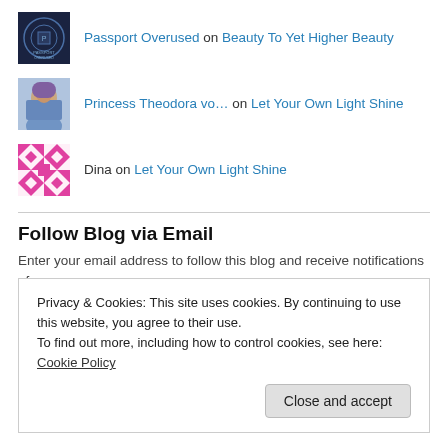Passport Overused on Beauty To Yet Higher Beauty
Princess Theodora vo… on Let Your Own Light Shine
Dina on Let Your Own Light Shine
Follow Blog via Email
Enter your email address to follow this blog and receive notifications of new posts by email.
Privacy & Cookies: This site uses cookies. By continuing to use this website, you agree to their use. To find out more, including how to control cookies, see here: Cookie Policy